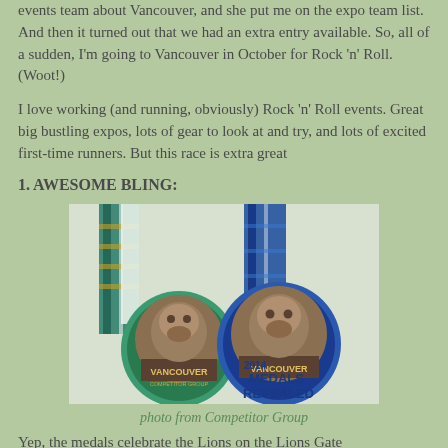events team about Vancouver, and she put me on the expo team list. And then it turned out that we had an extra entry available. So, all of a sudden, I'm going to Vancouver in October for Rock 'n' Roll. (Woot!)
I love working (and running, obviously) Rock 'n' Roll events. Great big bustling expos, lots of gear to look at and try, and lots of excited first-time runners. But this race is extra great
1. AWESOME BLING:
[Figure (photo): Two Rock 'n' Roll Vancouver 2014 race medals with plaid ribbons, showing cartoon lion/bulldog mascots. Text overlay reads '2014 MEDALS REVEALED'.]
photo from Competitor Group
Yep, the medals celebrate the Lions on the Lions Gate